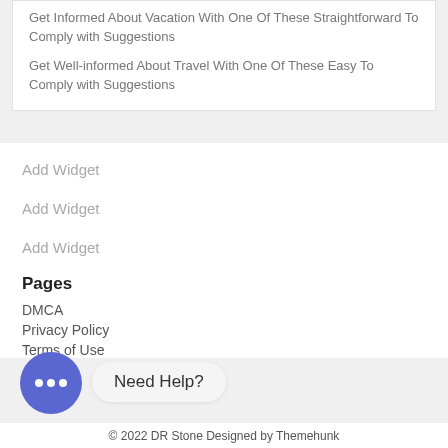Get Informed About Vacation With One Of These Straightforward To Comply with Suggestions
Get Well-informed About Travel With One Of These Easy To Comply with Suggestions
Add Widget
Add Widget
Add Widget
Pages
DMCA
Privacy Policy
Terms of Use
Need Help?
© 2022 DR Stone Designed by Themehunk